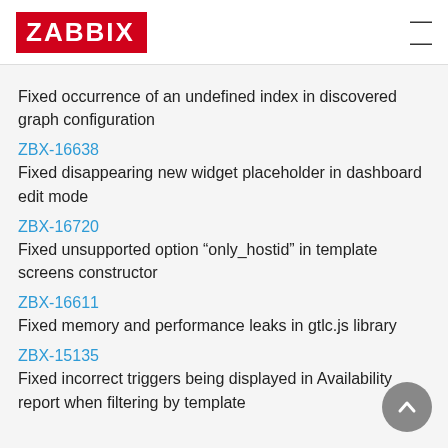ZABBIX
Fixed occurrence of an undefined index in discovered graph configuration
ZBX-16638
Fixed disappearing new widget placeholder in dashboard edit mode
ZBX-16720
Fixed unsupported option “only_hostid” in template screens constructor
ZBX-16611
Fixed memory and performance leaks in gtlc.js library
ZBX-15135
Fixed incorrect triggers being displayed in Availability report when filtering by template